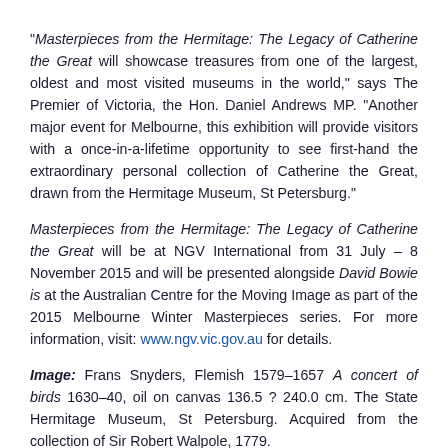“Masterpieces from the Hermitage: The Legacy of Catherine the Great will showcase treasures from one of the largest, oldest and most visited museums in the world,” says The Premier of Victoria, the Hon. Daniel Andrews MP. “Another major event for Melbourne, this exhibition will provide visitors with a once-in-a-lifetime opportunity to see first-hand the extraordinary personal collection of Catherine the Great, drawn from the Hermitage Museum, St Petersburg.”
Masterpieces from the Hermitage: The Legacy of Catherine the Great will be at NGV International from 31 July – 8 November 2015 and will be presented alongside David Bowie is at the Australian Centre for the Moving Image as part of the 2015 Melbourne Winter Masterpieces series. For more information, visit: www.ngv.vic.gov.au for details.
Image: Frans Snyders, Flemish 1579–1657 A concert of birds 1630–40, oil on canvas 136.5 ? 240.0 cm. The State Hermitage Museum, St Petersburg. Acquired from the collection of Sir Robert Walpole, 1779.